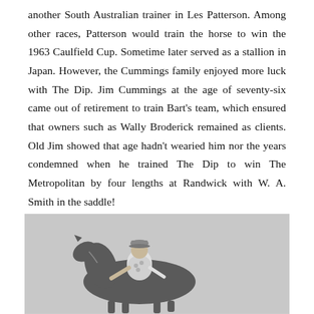another South Australian trainer in Les Patterson. Among other races, Patterson would train the horse to win the 1963 Caulfield Cup. Sometime later served as a stallion in Japan. However, the Cummings family enjoyed more luck with The Dip. Jim Cummings at the age of seventy-six came out of retirement to train Bart's team, which ensured that owners such as Wally Broderick remained as clients. Old Jim showed that age hadn't wearied him nor the years condemned when he trained The Dip to win The Metropolitan by four lengths at Randwick with W. A. Smith in the saddle!
[Figure (photo): Black and white photograph of a jockey in light-coloured silks and cap sitting atop a horse, visible from the side/front. The background is plain grey.]